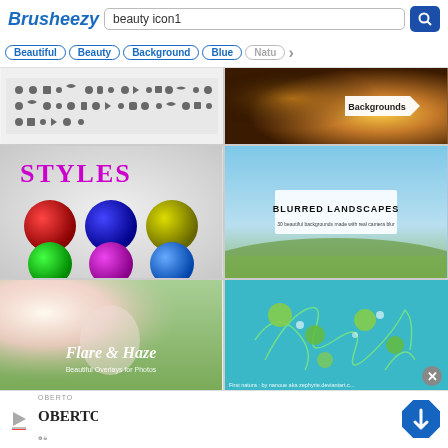[Figure (screenshot): Brusheezy website header with logo, search bar containing 'beauty icon1', and blue search button]
[Figure (screenshot): Tag filter buttons: Beautiful, Beauty, Background, Blue, Natu... with right arrow]
[Figure (screenshot): Grid cell: Photoshop brush icons/symbols preview thumbnail]
[Figure (screenshot): Grid cell: Backgrounds category image with bokeh lights and orange tones]
[Figure (screenshot): Grid cell: Styles - colorful glossy sphere buttons on crumpled paper background]
[Figure (screenshot): Grid cell: Blurred Landscapes - 30 beautiful backgrounds made with real camera blur, sky and field photo]
[Figure (screenshot): Grid cell: Flare & Haze Beautiful Overlays for Photos - couple in field with light flare]
[Figure (screenshot): Grid cell: First natura by nanoue aka zephyrie.deviantart.c... - teal floral illustration]
[Figure (screenshot): Advertisement bar with Oberto brand logo and navigation icon]